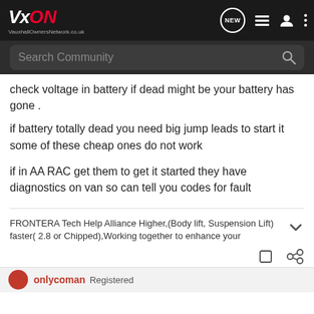VxON VauxhallOwnersNetwork.co.uk
check voltage in battery if dead might be your battery has gone .
if battery totally dead you need big jump leads to start it some of these cheap ones do not work
if in AA RAC get them to get it started they have diagnostics on van so can tell you codes for fault
FRONTERA Tech Help Alliance Higher,(Body lift, Suspension Lift) faster( 2.8 or Chipped),Working together to enhance your
onlycoman  Registered